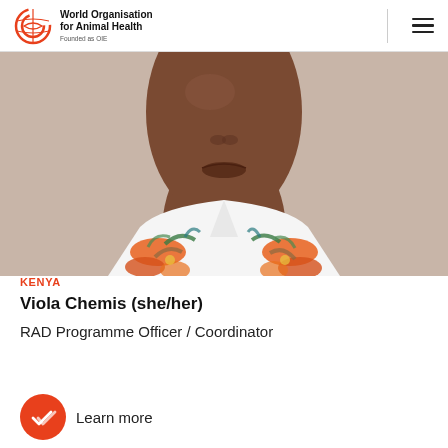World Organisation for Animal Health — Founded as OIE
[Figure (photo): Close-up portrait photo of Viola Chemis, a woman wearing a white floral shirt with orange and green tropical print, photographed against a neutral background. The photo shows her face from the nose down to the upper chest.]
KENYA
Viola Chemis (she/her)
RAD Programme Officer / Coordinator
Learn more